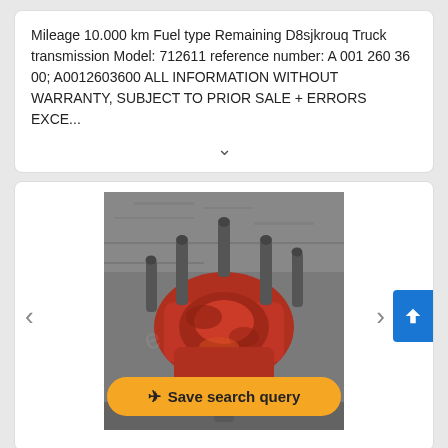Mileage 10.000 km Fuel type Remaining D8sjkrouq Truck transmission Model: 712611 reference number: A 001 260 36 00; A0012603600 ALL INFORMATION WITHOUT WARRANTY, SUBJECT TO PRIOR SALE + ERRORS EXCE...
[Figure (photo): Photo of a red truck transmission/differential component with multiple protruding shafts, viewed from above on a concrete surface. Overlaid with a yellow rounded button reading 'Save search query'. Navigation arrows (left/right) and a blue scroll-up button are also visible.]